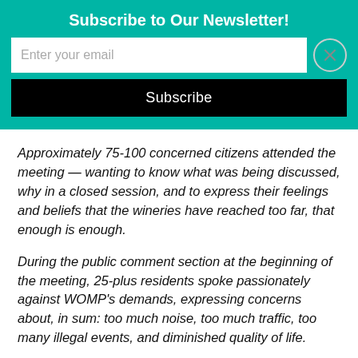Subscribe to Our Newsletter!
Enter your email
Subscribe
Approximately 75-100 concerned citizens attended the meeting — wanting to know what was being discussed, why in a closed session, and to express their feelings and beliefs that the wineries have reached too far, that enough is enough.
During the public comment section at the beginning of the meeting, 25-plus residents spoke passionately against WOMP's demands, expressing concerns about, in sum: too much noise, too much traffic, too many illegal events, and diminished quality of life.